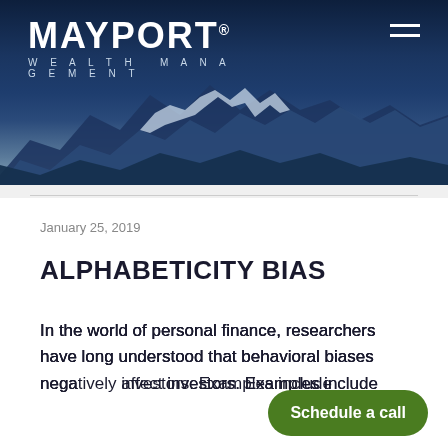[Figure (photo): Dark navy blue mountain range header banner with snow-capped peaks against a deep blue sky, used as website hero image for Mayport Wealth Management]
MAYPORT® WEALTH MANAGEMENT
January 25, 2019
ALPHABETICITY BIAS
In the world of personal finance, researchers have long understood that behavioral biases negatively affect investors. Examples include